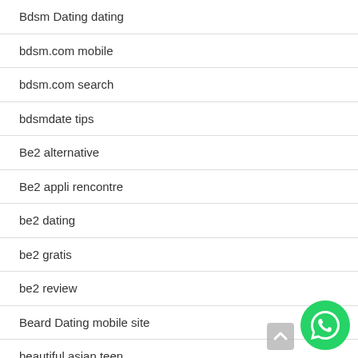Bdsm Dating dating
bdsm.com mobile
bdsm.com search
bdsmdate tips
Be2 alternative
Be2 appli rencontre
be2 dating
be2 gratis
be2 review
Beard Dating mobile site
beautiful asian teen
beautiful ukrainian women
beautifulpeople bewertung
[Figure (logo): WhatsApp contact button (green circle with phone handset icon)]